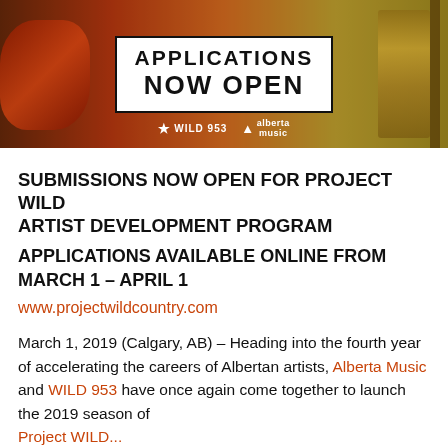[Figure (photo): Banner image with guitar player in background, white box overlay reading 'APPLICATIONS NOW OPEN', WILD 953 and Alberta Music logos at bottom]
SUBMISSIONS NOW OPEN FOR PROJECT WILD ARTIST DEVELOPMENT PROGRAM
APPLICATIONS AVAILABLE ONLINE FROM MARCH 1 – APRIL 1
www.projectwildcountry.com
March 1, 2019 (Calgary, AB) – Heading into the fourth year of accelerating the careers of Albertan artists, Alberta Music and WILD 953 have once again come together to launch the 2019 season of Project WILD...